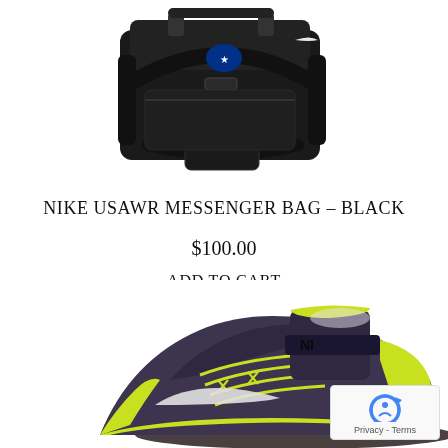[Figure (photo): Nike USAWR black messenger bag with straps and shoulder strap, viewed from top/front, on white background]
NIKE USAWR MESSENGER BAG – BLACK
$100.00
ADD TO CART
[Figure (photo): Nike wrestling shoe in dark purple/charcoal and neon yellow-green, high-top with velcro ankle strap and swoosh logo, viewed from side angle on white background]